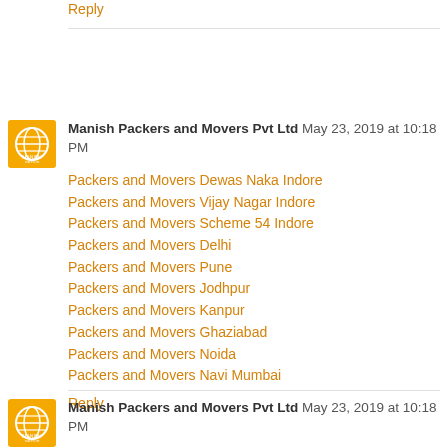Reply
Manish Packers and Movers Pvt Ltd May 23, 2019 at 10:18 PM
Packers and Movers Dewas Naka Indore
Packers and Movers Vijay Nagar Indore
Packers and Movers Scheme 54 Indore
Packers and Movers Delhi
Packers and Movers Pune
Packers and Movers Jodhpur
Packers and Movers Kanpur
Packers and Movers Ghaziabad
Packers and Movers Noida
Packers and Movers Navi Mumbai
Reply
Manish Packers and Movers Pvt Ltd May 23, 2019 at 10:18 PM
Packers and Movers Viman Nagar Pune